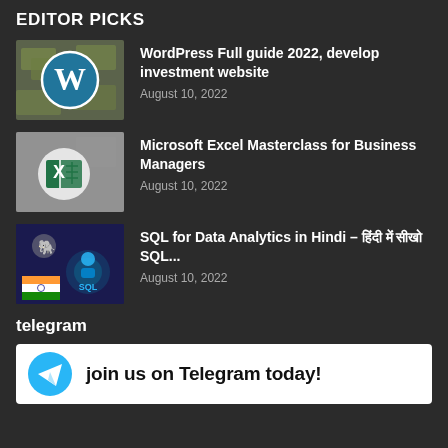EDITOR PICKS
WordPress Full guide 2022, develop investment website
August 10, 2022
Microsoft Excel Masterclass for Business Managers
August 10, 2022
SQL for Data Analytics in Hindi – हिंदी में सीखो SQL...
August 10, 2022
telegram
[Figure (illustration): Telegram promotional banner with Telegram logo and text 'join us on Telegram today!']